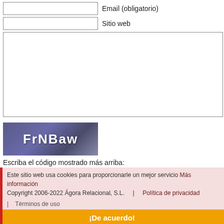Email (obligatorio)
Sitio web
[Figure (screenshot): CAPTCHA image showing text 'FrNBaw' on a dark blue-grey gradient background]
Escriba el código mostrado más arriba:
Añadir comentario
Notifíqueme por email los comentarios de seguimiento
Este sitio web usa cookies para proporcionarle un mejor servicio Más información Copyright 2006-2022 Ágora Relacional, S.L. | Política de privacidad | Términos de uso | ¡De acuerdo!